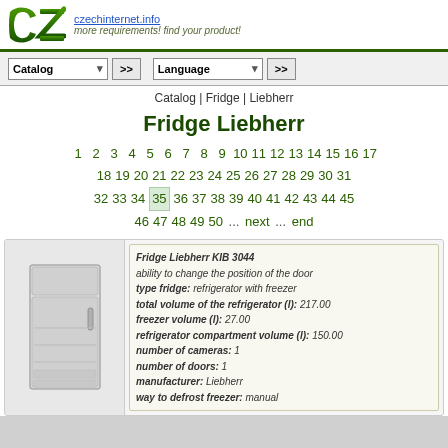czechinternet.info — more requirements! find your product!
Catalog | >> | Language | >>
Catalog | Fridge | Liebherr
Fridge Liebherr
1 2 3 4 5 6 7 8 9 10 11 12 13 14 15 16 17 18 19 20 21 22 23 24 25 26 27 28 29 30 31 32 33 34 35 36 37 38 39 40 41 42 43 44 45 46 47 48 49 50 ... next ... end
Fridge Liebherr KIB 3044
ability to change the position of the door
type fridge: refrigerator with freezer
total volume of the refrigerator (l): 217.00
freezer volume (l): 27.00
refrigerator compartment volume (l): 150.00
number of cameras: 1
number of doors: 1
manufacturer: Liebherr
way to defrost freezer: manual